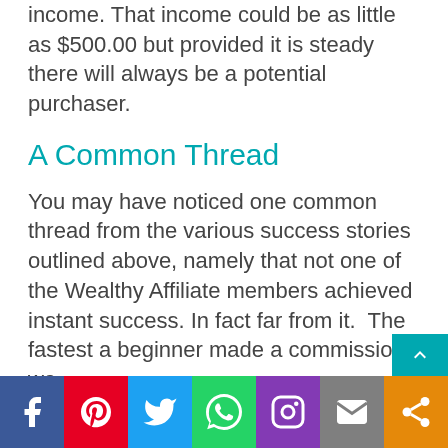income. That income could be as little as $500.00 but provided it is steady there will always be a potential purchaser.
A Common Thread
You may have noticed one common thread from the various success stories outlined above, namely that not one of the Wealthy Affiliate members achieved instant success. In fact far from it. The fastest a beginner made a commission wa...
[Figure (infographic): Social media sharing bar at the bottom of the page with icons for Facebook (blue), Pinterest (red), Twitter (light blue), WhatsApp (green), Instagram (purple), Email (grey), and Share (orange). A teal scroll-to-top button is above the bar on the right side.]